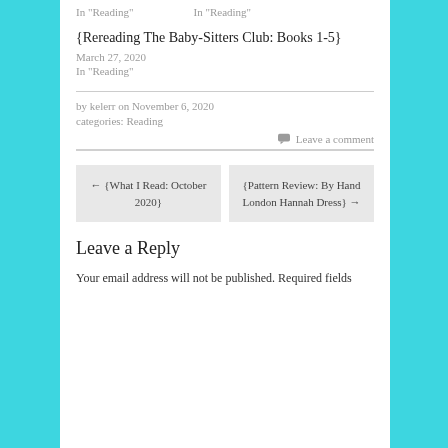In "Reading"   In "Reading"
{Rereading The Baby-Sitters Club: Books 1-5}
March 27, 2020
In "Reading"
by kelerr on November 6, 2020
categories: Reading
Leave a comment
← {What I Read: October 2020}   {Pattern Review: By Hand London Hannah Dress} →
Leave a Reply
Your email address will not be published. Required fields